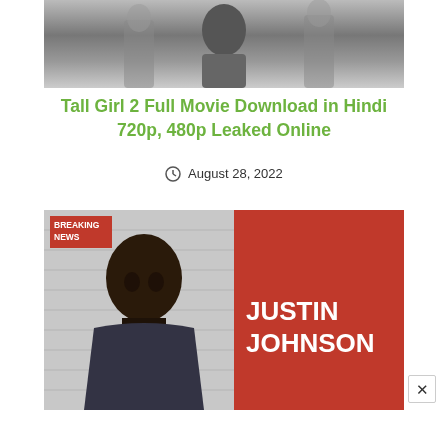[Figure (photo): Black and white photo of a tall girl walking, movie still]
Tall Girl 2 Full Movie Download in Hindi 720p, 480p Leaked Online
August 28, 2022
[Figure (photo): Breaking news thumbnail showing Justin Johnson mugshot split screen with red background panel displaying name JUSTIN JOHNSON]